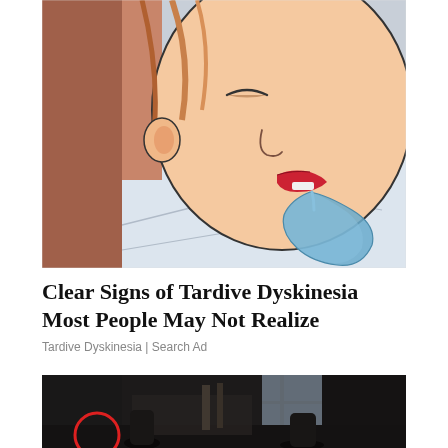[Figure (illustration): Comic-style illustration of a person sleeping on a white pillow with a blue drool/saliva puddle near their mouth. The person has reddish lips and blonde hair visible. The art style is cartoon/pop-art.]
Clear Signs of Tardive Dyskinesia Most People May Not Realize
Tardive Dyskinesia | Search Ad
[Figure (photo): Partial photo of what appears to be a dimly lit room interior, possibly a living or dining area. A red circle is visible on the lower left portion of the image. The image is cropped at the bottom of the page.]